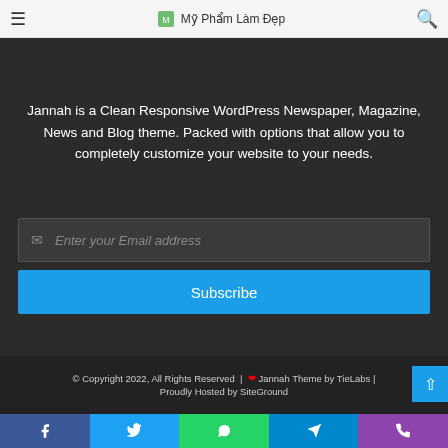Mỹ Phẩm Làm Đẹp
Jannah is a Clean Responsive WordPress Newspaper, Magazine, News and Blog theme. Packed with options that allow you to completely customize your website to your needs.
[Figure (screenshot): Email subscription input field with envelope icon and placeholder text 'Enter your Email address']
[Figure (screenshot): Blue Subscribe button]
© Copyright 2022, All Rights Reserved | ❤ Jannah Theme by TieLabs | Proudly Hosted by SiteGround
[Figure (infographic): Social media share buttons bar: Facebook, Twitter, WhatsApp, Telegram, Phone]